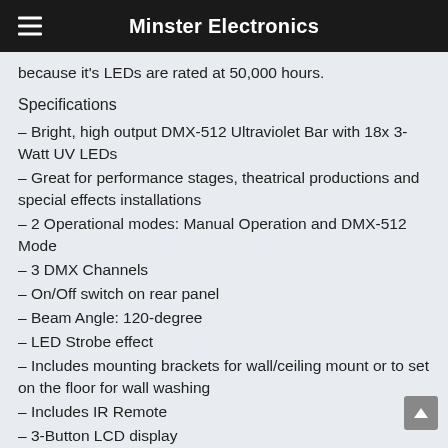Minster Electronics
because it's LEDs are rated at 50,000 hours.
Specifications
– Bright, high output DMX-512 Ultraviolet Bar with 18x 3-Watt UV LEDs
– Great for performance stages, theatrical productions and special effects installations
– 2 Operational modes: Manual Operation and DMX-512 Mode
– 3 DMX Channels
– On/Off switch on rear panel
– Beam Angle: 120-degree
– LED Strobe effect
– Includes mounting brackets for wall/ceiling mount or to set on the floor for wall washing
– Includes IR Remote
– 3-Button LCD display
– Linkable via 3-pin XLR cable